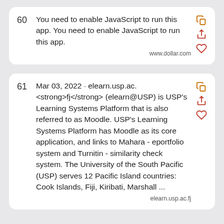60  You need to enable JavaScript to run this app. You need to enable JavaScript to run this app.
www.dollar.com
61  Mar 03, 2022 · elearn.usp.ac. <strong>fj</strong> (elearn@USP) is USP's Learning Systems Platform that is also referred to as Moodle. USP's Learning Systems Platform has Moodle as its core application, and links to Mahara - eportfolio system and Turnitin - similarity check system. The University of the South Pacific (USP) serves 12 Pacific Island countries: Cook Islands, Fiji, Kiribati, Marshall ...
elearn.usp.ac.fj